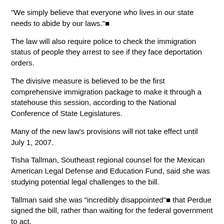"We simply believe that everyone who lives in our state needs to abide by our laws."■
The law will also require police to check the immigration status of people they arrest to see if they face deportation orders.
The divisive measure is believed to be the first comprehensive immigration package to make it through a statehouse this session, according to the National Conference of State Legislatures.
Many of the new law’s provisions will not take effect until July 1, 2007.
Tisha Tallman, Southeast regional counsel for the Mexican American Legal Defense and Education Fund, said she was studying potential legal challenges to the bill.
Tallman said she was "incredibly disappointed"■ that Perdue signed the bill, rather than waiting for the federal government to act.
"We recognize that immigration is ultimately a national issue that needs a national solution,"■ Perdue said. "Because we need to know who is living here in Georgia, and for that matter, who is living in our country."■
The new law will not affect emergency medical care and education for children in kindergarten through 12th grade, which federal courts have said must be provided regardless of immigration status. Exemptions were also added for some other services like prenatal care and the treatment communicable diseases.
The crowd outside the Capitol waved American flags and cheered as